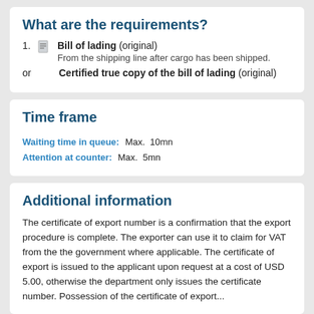What are the requirements?
Bill of lading (original)
From the shipping line after cargo has been shipped.
or   Certified true copy of the bill of lading (original)
Time frame
Waiting time in queue:  Max.  10mn
Attention at counter:  Max.  5mn
Additional information
The certificate of export number is a confirmation that the export procedure is complete. The exporter can use it to claim for VAT from the the government where applicable. The certificate of export is issued to the applicant upon request at a cost of USD 5.00, otherwise the department only issues the certificate number. Possession of the certificate of export...